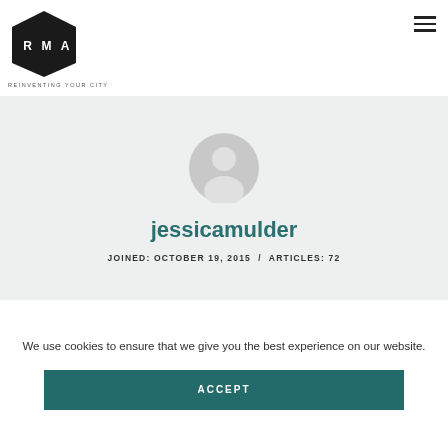[Figure (logo): RMA logo - black pentagon/shield shape with letters R M A in white, with tagline REINVENTING YOUR CITY below]
jessicamulder
JOINED: OCTOBER 19, 2015 / ARTICLES: 72
We use cookies to ensure that we give you the best experience on our website.